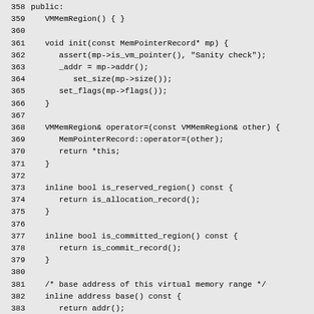Source code listing lines 358-388, C++ class VMMemRegion